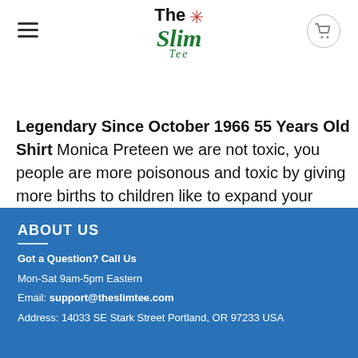The Slim Tee
Legendary Since October 1966 55 Years Old Shirt Monica Preteen we are not toxic, you people are more poisonous and toxic by giving more births to children like to expand your population.
ABOUT US
Got a Question? Call Us
Mon-Sat 9am-5pm Eastern
Email: support@theslimtee.com
Address: 14033 SE Stark Street Portland, OR 97233 USA